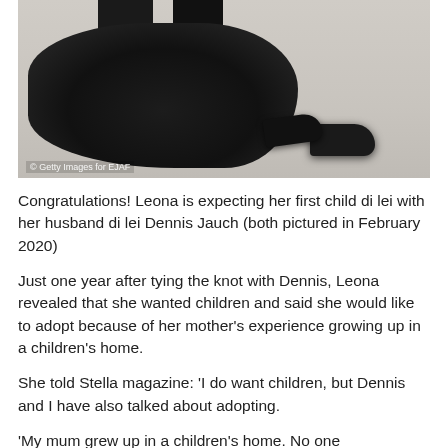[Figure (photo): Photo of a person in all black attire sitting or crouching on a light-colored floor, with polished black dress shoes visible. Photo is cropped to show lower body/dress fabric.]
© Getty Images for EJAF
Congratulations! Leona is expecting her first child di lei with her husband di lei Dennis Jauch (both pictured in February 2020)
Just one year after tying the knot with Dennis, Leona revealed that she wanted children and said she would like to adopt because of her mother's experience growing up in a children's home.
She told Stella magazine: 'I do want children, but Dennis and I have also talked about adopting.
'My mum grew up in a children's home. No one